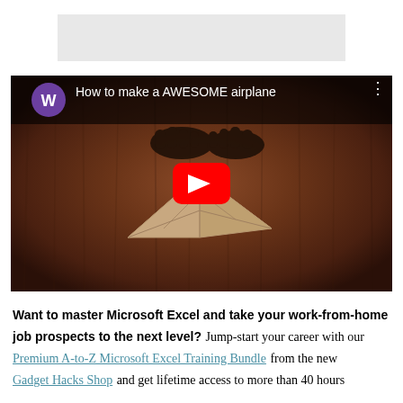[Figure (other): Gray advertisement banner placeholder]
[Figure (screenshot): YouTube video thumbnail showing 'How to make a AWESOME airplane' with a paper airplane on carpet and a red play button. Channel avatar W in purple circle.]
Want to master Microsoft Excel and take your work-from-home job prospects to the next level? Jump-start your career with our Premium A-to-Z Microsoft Excel Training Bundle from the new Gadget Hacks Shop and get lifetime access to more than 40 hours